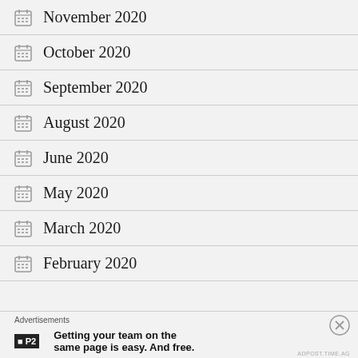November 2020
October 2020
September 2020
August 2020
June 2020
May 2020
March 2020
February 2020
Advertisements
P2 Getting your team on the same page is easy. And free.